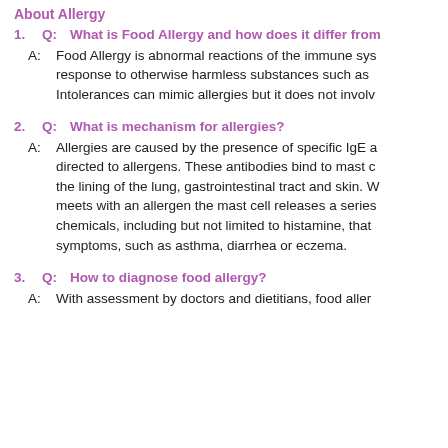About Allergy
1. Q: What is Food Allergy and how does it differ from
A: Food Allergy is abnormal reactions of the immune system response to otherwise harmless substances such as Intolerances can mimic allergies but it does not involve
2. Q: What is mechanism for allergies?
A: Allergies are caused by the presence of specific IgE directed to allergens. These antibodies bind to mast the lining of the lung, gastrointestinal tract and skin. meets with an allergen the mast cell releases a series chemicals, including but not limited to histamine, that symptoms, such as asthma, diarrhea or eczema.
3. Q: How to diagnose food allergy?
A: With assessment by doctors and dietitians, food aller